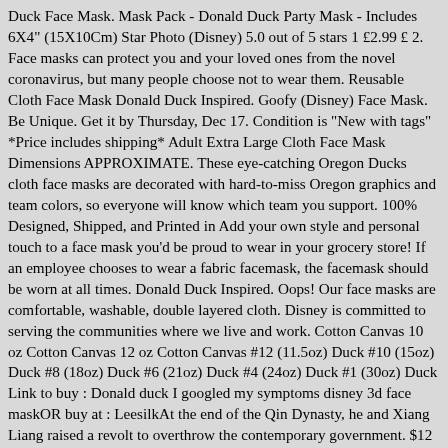Duck Face Mask. Mask Pack - Donald Duck Party Mask - Includes 6X4" (15X10Cm) Star Photo (Disney) 5.0 out of 5 stars 1 £2.99 £ 2. Face masks can protect you and your loved ones from the novel coronavirus, but many people choose not to wear them. Reusable Cloth Face Mask Donald Duck Inspired. Goofy (Disney) Face Mask. Be Unique. Get it by Thursday, Dec 17. Condition is "New with tags" *Price includes shipping* Adult Extra Large Cloth Face Mask Dimensions APPROXIMATE. These eye-catching Oregon Ducks cloth face masks are decorated with hard-to-miss Oregon graphics and team colors, so everyone will know which team you support. 100% Designed, Shipped, and Printed in Add your own style and personal touch to a face mask you'd be proud to wear in your grocery store! If an employee chooses to wear a fabric facemask, the facemask should be worn at all times. Donald Duck Inspired. Oops! Our face masks are comfortable, washable, double layered cloth. Disney is committed to serving the communities where we live and work. Cotton Canvas 10 oz Cotton Canvas 12 oz Cotton Canvas #12 (11.5oz) Duck #10 (15oz) Duck #8 (18oz) Duck #6 (21oz) Duck #4 (24oz) Duck #1 (30oz) Duck Link to buy : Donald duck I googled my symptoms disney 3d face maskOR buy at : LeesilkAt the end of the Qin Dynasty, he and Xiang Liang raised a revolt to overthrow the contemporary government. $12 Miracle Holiday Check with item Purchases #12 The Child Check A